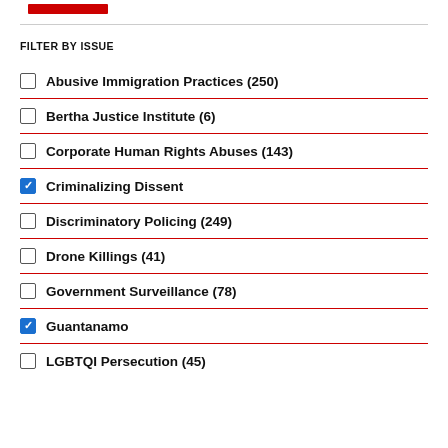FILTER BY ISSUE
Abusive Immigration Practices (250)
Bertha Justice Institute (6)
Corporate Human Rights Abuses (143)
Criminalizing Dissent
Discriminatory Policing (249)
Drone Killings (41)
Government Surveillance (78)
Guantanamo
LGBTQI Persecution (45)